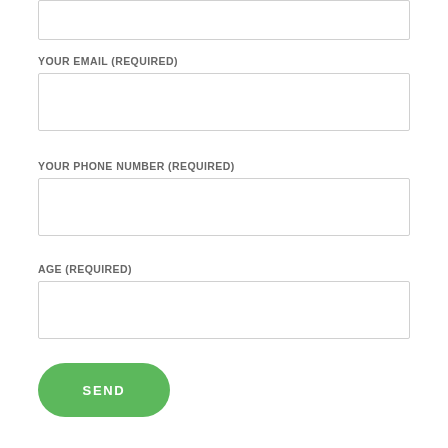[Figure (other): Input text field (top, partially visible, no label shown)]
YOUR EMAIL (REQUIRED)
[Figure (other): Input text field for email]
YOUR PHONE NUMBER (REQUIRED)
[Figure (other): Input text field for phone number]
AGE (REQUIRED)
[Figure (other): Input text field for age]
[Figure (other): Green rounded SEND button]